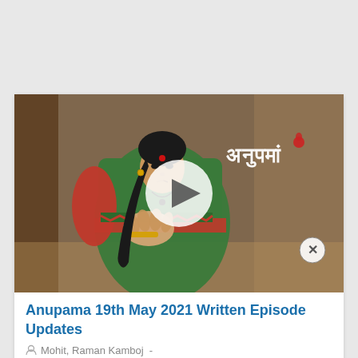[Figure (screenshot): Thumbnail image of Indian TV show Anupama with a woman in green and red saree with her hand on her chest, showing the show title in Hindi script 'अनुपमां', with a play button overlay and a close (x) button in the bottom right corner.]
Anupama 19th May 2021 Written Episode Updates
Mohit Raman Kamboj -